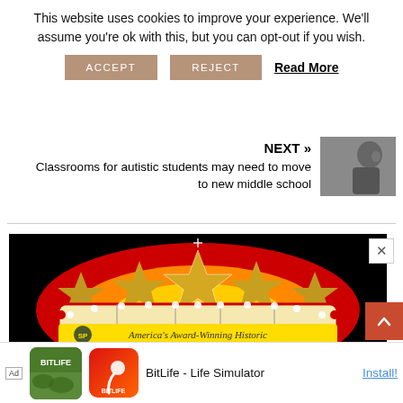This website uses cookies to improve your experience. We'll assume you're ok with this, but you can opt-out if you wish.
ACCEPT   REJECT   Read More
NEXT »
Classrooms for autistic students may need to move to new middle school
[Figure (photo): Thumbnail photo of an elderly man in profile view]
[Figure (photo): America's Award-Winning Historic — marquee-style sign with gold stars, red and white lights on dark background]
Ad   BitLife - Life Simulator   Install!